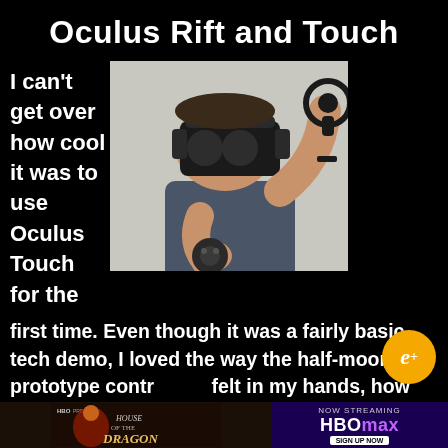Oculus Rift and Touch
[Figure (photo): Man wearing Oculus Rift VR headset, holding Touch controllers, reaching up with right hand]
I can't get over how cool it was to use Oculus Touch for the first time. Even though it was a fairly basic tech demo, I loved the way the half-moon prototype controllers felt in my hands, how easy it was to interact with the environment in a natural way, and how quickly I forgot where I was and what I was actually doing. It was my very la
[Figure (advertisement): HBO Max House of the Dragon advertisement banner at bottom of page]